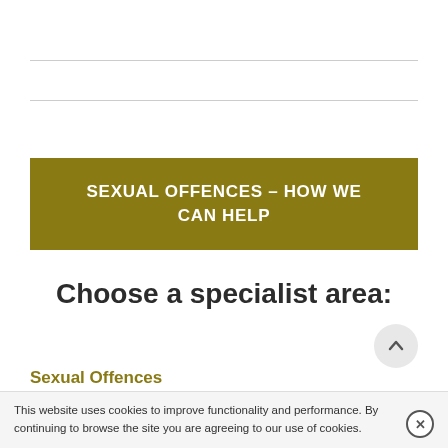SEXUAL OFFENCES – HOW WE CAN HELP
Choose a specialist area:
Sexual Offences
This website uses cookies to improve functionality and performance. By continuing to browse the site you are agreeing to our use of cookies.